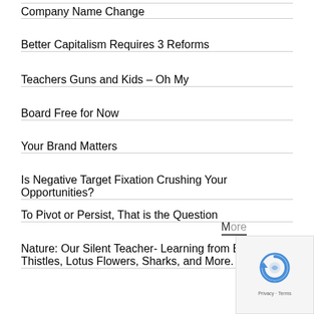Company Name Change
Better Capitalism Requires 3 Reforms
Teachers Guns and Kids – Oh My
Board Free for Now
Your Brand Matters
Is Negative Target Fixation Crushing Your Opportunities?
To Pivot or Persist, That is the Question
Nature: Our Silent Teacher- Learning from Bees, Thistles, Lotus Flowers, Sharks, and More.
More
[Figure (logo): reCAPTCHA logo with Privacy and Terms text]